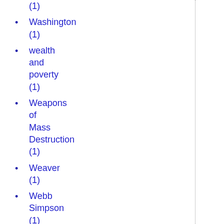(1)
Washington (1)
wealth and poverty (1)
Weapons of Mass Destruction (1)
Weaver (1)
Webb Simpson (1)
welfare (1)
welfare state (1)
Welfare State (1)